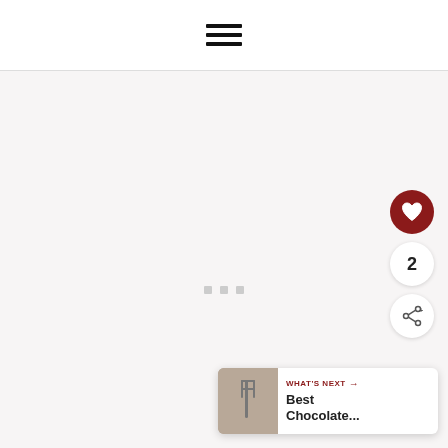hamburger menu icon
[Figure (screenshot): Loading state of a web page with light gray background, three small gray square loading dots centered in the content area]
[Figure (infographic): Dark red circular heart/favorite button on right side]
2
[Figure (infographic): White circular share button with share icon on right side]
[Figure (infographic): What's Next card with thumbnail image, label 'WHAT'S NEXT →', and title 'Best Chocolate...']